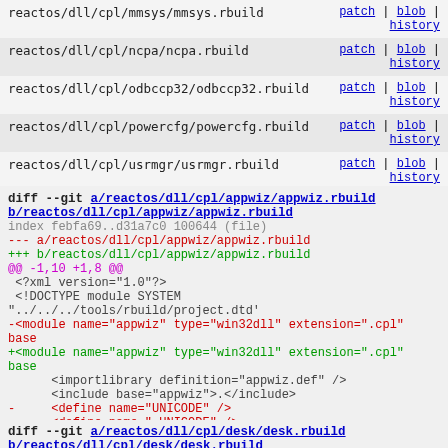| path | actions |
| --- | --- |
| reactos/dll/cpl/mmsys/mmsys.rbuild | patch | blob | history |
| reactos/dll/cpl/ncpa/ncpa.rbuild | patch | blob | history |
| reactos/dll/cpl/odbccp32/odbccp32.rbuild | patch | blob | history |
| reactos/dll/cpl/powercfg/powercfg.rbuild | patch | blob | history |
| reactos/dll/cpl/usrmgr/usrmgr.rbuild | patch | blob | history |
diff --git a/reactos/dll/cpl/appwiz/appwiz.rbuild b/reactos/dll/cpl/appwiz/appwiz.rbuild
index febfa69..d31a7c0 100644 (file)
--- a/reactos/dll/cpl/appwiz/appwiz.rbuild
+++ b/reactos/dll/cpl/appwiz/appwiz.rbuild
@@ -1,10 +1,8 @@
 <?xml version="1.0"?>
 <!DOCTYPE module SYSTEM "../../../tools/rbuild/project.dtd'
-<module name="appwiz" type="win32dll" extension=".cpl" base
+<module name="appwiz" type="win32dll" extension=".cpl" base
        <importlibrary definition="appwiz.def" />
        <include base="appwiz">.</include>
-       <define name="UNICODE" />
-       <define name="_UNICODE" />
        <define name="__REACTOS__" />
        <define name="__USE_W32API" />
        <define name="_WIN32_IE">0x600</define>
diff --git a/reactos/dll/cpl/desk/desk.rbuild b/reactos/dll/cpl/desk/desk.rbuild